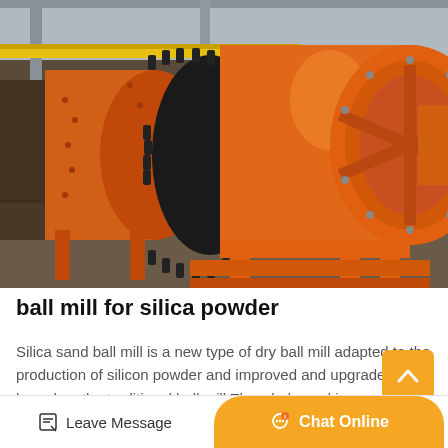[Figure (photo): Large orange industrial ball mill machine in a factory/warehouse setting. The cylindrical grinding mill is painted orange with a large gear ring around the middle cylinder and support frames. Industrial facility with steel structure visible in background.]
ball mill for silica powder
Silica sand ball mill is a new type of dry ball mill adapted to the production of silicon powder and improved and upgraded based on the traditional ball mill.The whole worki... of the ball mill is f...